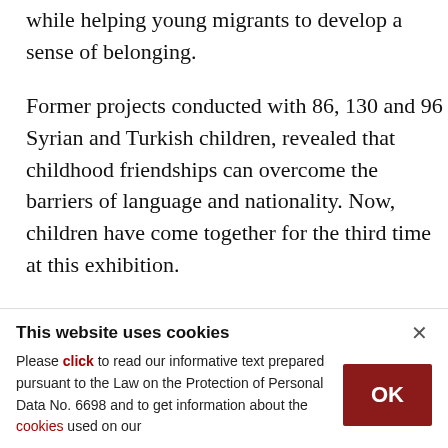while helping young migrants to develop a sense of belonging.
Former projects conducted with 86, 130 and 96 Syrian and Turkish children, revealed that childhood friendships can overcome the barriers of language and nationality. Now, children have come together for the third time at this exhibition.
A total of 80 children met under the auspices of the project, taking part in various psychodrama plays
This website uses cookies
Please click to read our informative text prepared pursuant to the Law on the Protection of Personal Data No. 6698 and to get information about the cookies used on our